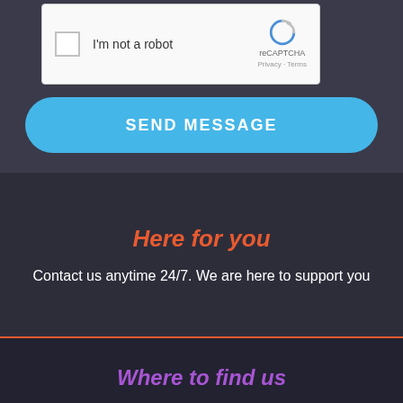[Figure (screenshot): reCAPTCHA widget with checkbox labeled 'I'm not a robot' and reCAPTCHA logo with Privacy and Terms links]
SEND MESSAGE
[Figure (other): Multicolor horizontal rainbow divider bar spanning full width]
Here for you
Contact us anytime 24/7. We are here to support you
[Figure (other): Red horizontal divider line]
Where to find us